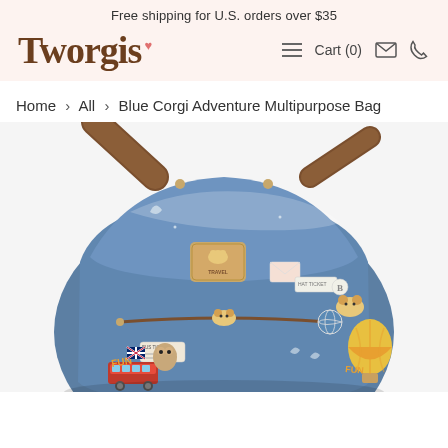Free shipping for U.S. orders over $35
Tworgis
Cart (0)
Home › All › Blue Corgi Adventure Multipurpose Bag
[Figure (photo): Blue Corgi Adventure Multipurpose Bag — a blue bag decorated with corgi and travel-themed illustrations (buses, hot air balloons, tickets, globes, envelopes), featuring a brown strap, gold zipper pulls, and a luggage-tag style patch that reads 'TRAVEL'.]